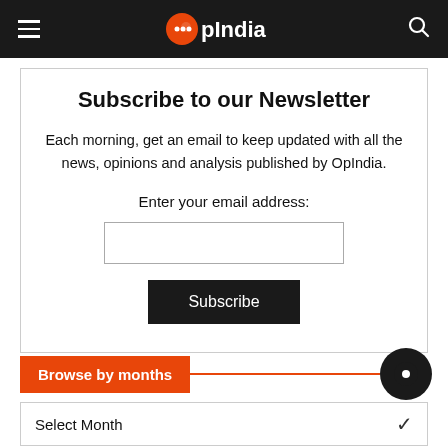OpIndia
Subscribe to our Newsletter
Each morning, get an email to keep updated with all the news, opinions and analysis published by OpIndia.
Enter your email address:
Browse by months
Select Month